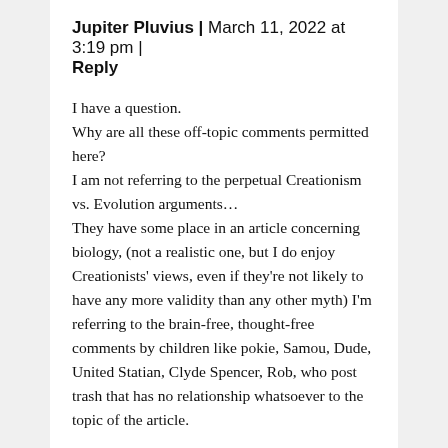Jupiter Pluvius | March 11, 2022 at 3:19 pm | Reply
I have a question. Why are all these off-topic comments permitted here? I am not referring to the perpetual Creationism vs. Evolution arguments… They have some place in an article concerning biology, (not a realistic one, but I do enjoy Creationists' views, even if they're not likely to have any more validity than any other myth) I'm referring to the brain-free, thought-free comments by children like pokie, Samou, Dude, United Statian, Clyde Spencer, Rob, who post trash that has no relationship whatsoever to the topic of the article.